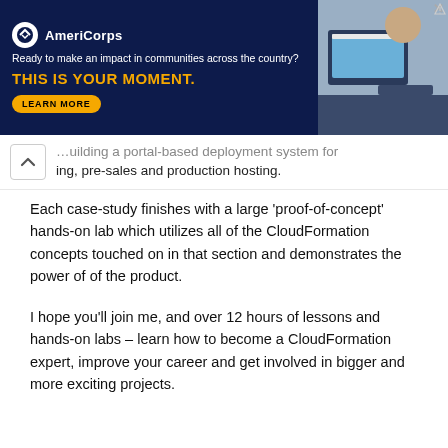[Figure (other): AmeriCorps advertisement banner with dark navy background. Logo with circular emblem, tagline 'Ready to make an impact in communities across the country?', headline 'THIS IS YOUR MOMENT.' in yellow, 'LEARN MORE' button, and photo of people working at computers on the right.]
...uilding a portal-based deployment system for ...ing, pre-sales and production hosting.
Each case-study finishes with a large 'proof-of-concept' hands-on lab which utilizes all of the CloudFormation concepts touched on in that section and demonstrates the power of of the product.
I hope you'll join me, and over 12 hours of lessons and hands-on labs – learn how to become a CloudFormation expert, improve your career and get involved in bigger and more exciting projects.